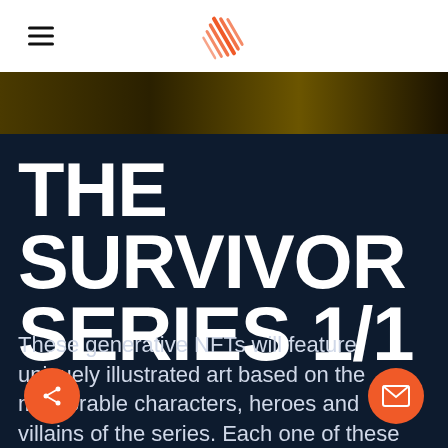Navigation bar with hamburger menu and site logo
[Figure (photo): Dark golden-brown textured decorative image strip]
THE SURVIVOR SERIES 1/1
These generative NFTs will feature uniquely illustrated art based on the memorable characters, heroes and villains of the series. Each one of these NFTs will be unique with its own 1/1